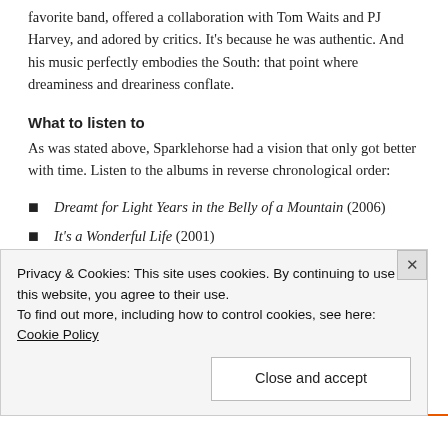When he was alive, he was hailed by Radiohead as their new favorite band, offered a collaboration with Tom Waits and PJ Harvey, and adored by critics. It's because he was authentic. And his music perfectly embodies the South: that point where dreaminess and dreariness conflate.
What to listen to
As was stated above, Sparklehorse had a vision that only got better with time. Listen to the albums in reverse chronological order:
Dreamt for Light Years in the Belly of a Mountain (2006)
It's a Wonderful Life (2001)
Privacy & Cookies: This site uses cookies. By continuing to use this website, you agree to their use.
To find out more, including how to control cookies, see here: Cookie Policy
Close and accept